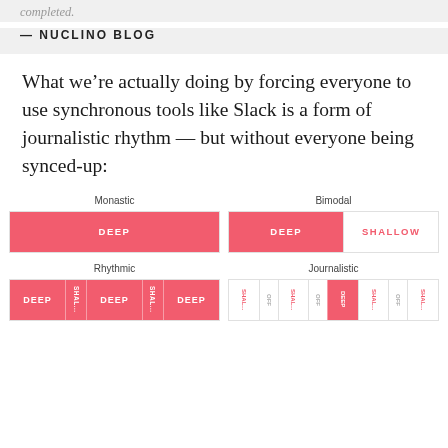completed.
— NUCLINO BLOG
What we're actually doing by forcing everyone to use synchronous tools like Slack is a form of journalistic rhythm — but without everyone being synced-up:
[Figure (infographic): Four diagrams showing deep work scheduling philosophies: Monastic (all DEEP), Bimodal (DEEP + SHALLOW), Rhythmic (alternating DEEP/SHALLOW blocks), Journalistic (many alternating small SHALLOW/OFF/DEEP segments)]